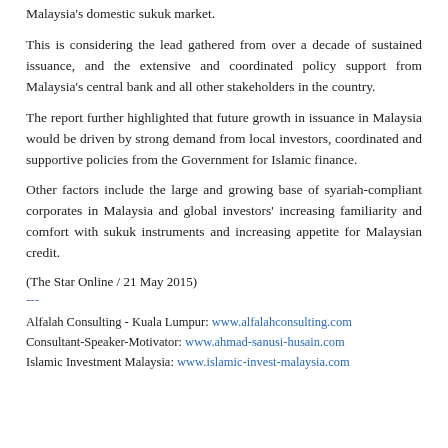Malaysia’s domestic sukuk market.
This is considering the lead gathered from over a decade of sustained issuance, and the extensive and coordinated policy support from Malaysia’s central bank and all other stakeholders in the country.
The report further highlighted that future growth in issuance in Malaysia would be driven by strong demand from local investors, coordinated and supportive policies from the Government for Islamic finance.
Other factors include the large and growing base of syariah-compliant corporates in Malaysia and global investors’ increasing familiarity and comfort with sukuk instruments and increasing appetite for Malaysian credit.
(The Star Online / 21 May 2015)
---
Alfalah Consulting - Kuala Lumpur: www.alfalahconsulting.com
Consultant-Speaker-Motivator: www.ahmad-sanusi-husain.com
Islamic Investment Malaysia: www.islamic-invest-malaysia.com